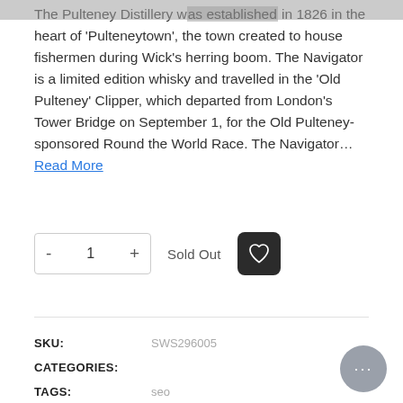The Pulteney Distillery was established in 1826 in the heart of 'Pulteneytown', the town created to house fishermen during Wick's herring boom. The Navigator is a limited edition whisky and travelled in the 'Old Pulteney' Clipper, which departed from London's Tower Bridge on September 1, for the Old Pulteney-sponsored Round the World Race. The Navigator... Read More
- 1 + Sold Out [heart icon]
SKU: SWS296005
CATEGORIES:
TAGS: seo
SHARE THIS: [social icons]